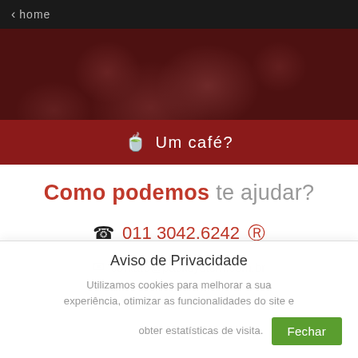< home
[Figure (photo): Dark red hero image with coffee beans in the background, overlaid with a semi-transparent dark red layer, and a red banner at the bottom reading a coffee cup icon and 'Um café?']
Como podemos te ajudar?
☎ 011 3042.6242 (whatsapp)
✉ contato@packsystem.com.br
Aviso de Privacidade
Utilizamos cookies para melhorar a sua experiência, otimizar as funcionalidades do site e obter estatísticas de visita.
Fechar